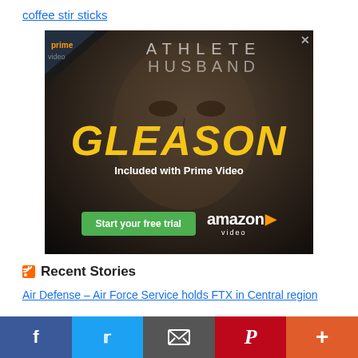coffee stir sticks
[Figure (photo): Amazon Prime Video advertisement for the documentary 'Gleason' (Athlete, Husband). Shows a man's face in dark tones with text 'ATHLETE HUSBAND GLEASON Included with Prime Video' and a green 'Start your free trial' button, Amazon Video logo. Prime badge in top-left corner.]
Recent Stories
Air Defense – Air Force Service holds FTX in Central region